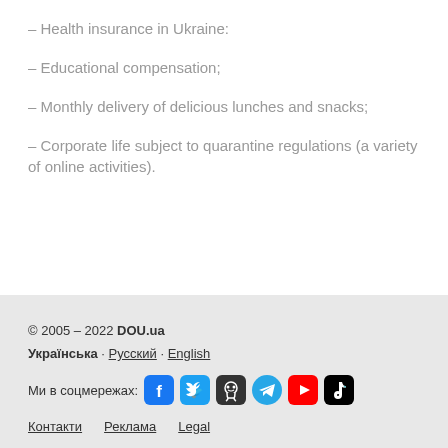– Health insurance in Ukraine:
– Educational compensation;
– Monthly delivery of delicious lunches and snacks;
– Corporate life subject to quarantine regulations (a variety of online activities).
© 2005 – 2022 DOU.ua
Українська · Русский · English
Ми в соцмережах: [social icons]
Контакти  Реклама  Legal